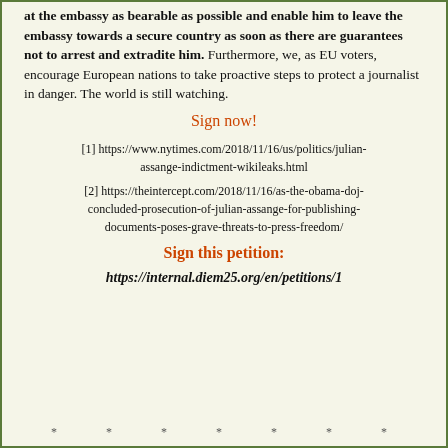Assange to the EU. Guarantee his human rights, make his stay at the embassy as bearable as possible and enable him to leave the embassy towards a secure country as soon as there are guarantees not to arrest and extradite him. Furthermore, we, as EU voters, encourage European nations to take proactive steps to protect a journalist in danger. The world is still watching.
Sign now!
[1] https://www.nytimes.com/2018/11/16/us/politics/julian-assange-indictment-wikileaks.html
[2] https://theintercept.com/2018/11/16/as-the-obama-doj-concluded-prosecution-of-julian-assange-for-publishing-documents-poses-grave-threats-to-press-freedom/
Sign this petition:
https://internal.diem25.org/en/petitions/1